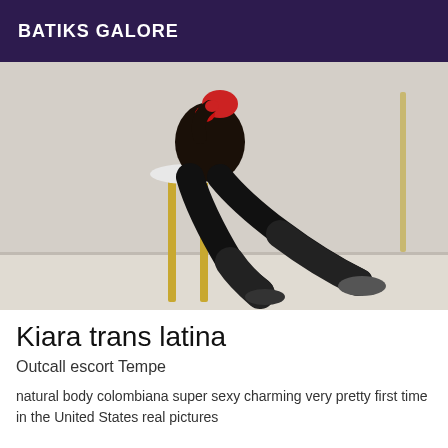BATIKS GALORE
[Figure (photo): A person in black lingerie and stockings sitting on a gold bar stool, wearing red accessories, photographed against a white wall.]
Kiara trans latina
Outcall escort Tempe
natural body colombiana super sexy charming very pretty first time in the United States real pictures